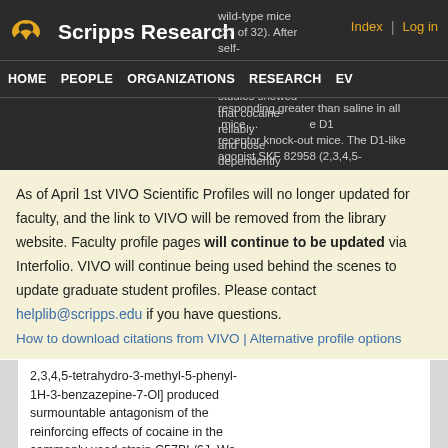Scripps Research
wild-type mice (27 of 32). After self-administration, dose-response studies showed that cocaine reliably and dose dependently maintained responding greater than saline in all mice... receptor knock-out mice. The D1-like agonist SKF 82958 (2,3,4,5-
HOME PEOPLE ORGANIZATIONS RESEARCH EV
As of April 1st VIVO Scientific Profiles will no longer updated for faculty, and the link to VIVO will be removed from the library website. Faculty profile pages will continue to be updated via Interfolio. VIVO will continue being used behind the scenes to update graduate student profiles. Please contact helplib@scripps.edu if you have questions.
How to download citations from VIVO | Alternative profile options
2,3,4,5-tetrahydro-3-methyl-5-phenyl-1H-3-benzazepine-7-Ol] produced surmountable antagonism of the reinforcing effects of cocaine in the commonly used strain C57BL/6J. We conclude that D1 receptor knock-out